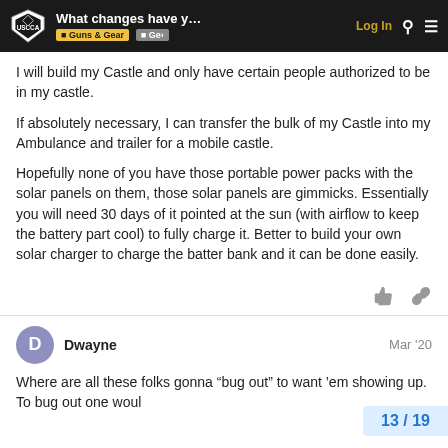What changes have y... | Guns & Gear | Ge | Log In
I will build my Castle and only have certain people authorized to be in my castle.
If absolutely necessary, I can transfer the bulk of my Castle into my Ambulance and trailer for a mobile castle.
Hopefully none of you have those portable power packs with the solar panels on them, those solar panels are gimmicks. Essentially you will need 30 days of it pointed at the sun (with airflow to keep the battery part cool) to fully charge it. Better to build your own solar charger to charge the batter bank and it can be done easily.
Dwayne  Mar '20
Where are all these folks gonna “bug out” to want ’em showing up. To bug out one woul